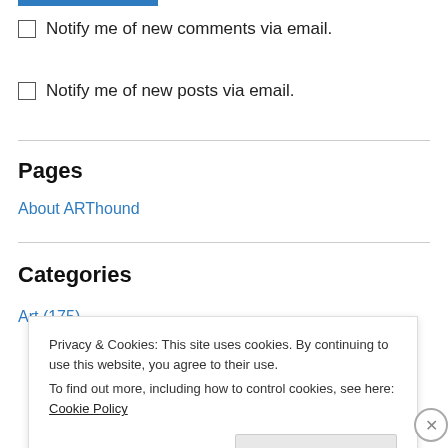Notify me of new comments via email.
Notify me of new posts via email.
Pages
About ARThound
Categories
Art (175)
Privacy & Cookies: This site uses cookies. By continuing to use this website, you agree to their use.
To find out more, including how to control cookies, see here: Cookie Policy
Close and accept